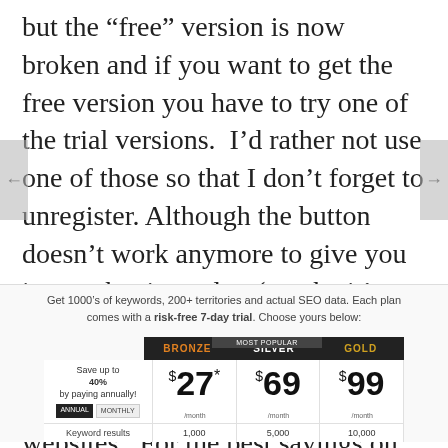but the "free" version is now broken and if you want to get the free version you have to try one of the trial versions.  I'd rather not use one of those so that I don't forget to unregister. Although the button doesn't work anymore to give you image that it used to (maybe it's available in the paid version), you can use the WordTracker page for a variety of information about websites.  For the best savings on the paid versions, be sure to select annual for a considerable savings.
[Figure (screenshot): WordTracker pricing table screenshot showing Bronze ($27/month), Silver ($69/month, most popular), and Gold ($99/month) plans with keyword results of 1,000 / 5,000 / 10,000 respectively. Includes promo text about 1000s of keywords, 200+ territories, risk-free 7-day trial. Save up to 40% by paying annually.]